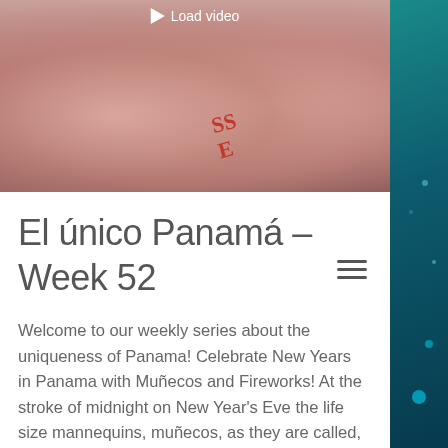[Figure (photo): Photo of a woman wearing a Miss pageant sash and crown, smiling. A 'Load video' button overlay appears at the top center of the image.]
El único Panamá - Week 52
Welcome to our weekly series about the uniqueness of Panama! Celebrate New Years in Panama with Muñecos and Fireworks! At the stroke of midnight on New Year's Eve the life size mannequins, muñecos, as they are called, are exploded – some people burn them but exploding seems more fun – symbolically saying goodbye to the old year. It is to keep the fights, the gossip, the evil and memories in the past. The muñecos can symbolize